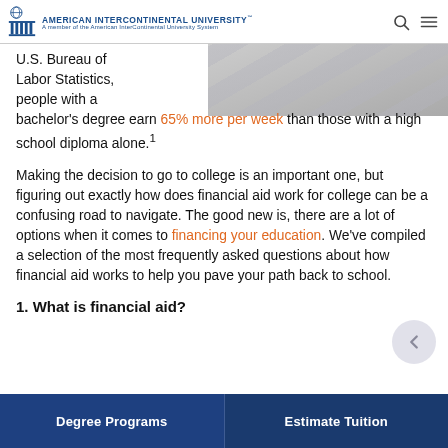American InterContinental University - A member of the American InterContinental University System
[Figure (photo): Partial view of a document or form with lines, light gray tones, close-up background image]
U.S. Bureau of Labor Statistics, people with a bachelor's degree earn 65% more per week than those with a high school diploma alone.¹
Making the decision to go to college is an important one, but figuring out exactly how does financial aid work for college can be a confusing road to navigate. The good new is, there are a lot of options when it comes to financing your education. We've compiled a selection of the most frequently asked questions about how financial aid works to help you pave your path back to school.
1. What is financial aid?
Degree Programs | Estimate Tuition